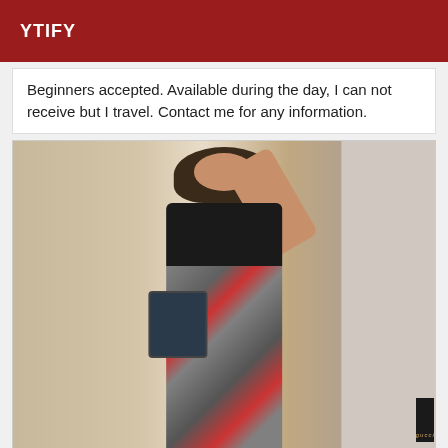YTIFY
Beginners accepted. Available during the day, I can not receive but I travel. Contact me for any information.
[Figure (photo): A woman taking a mirror selfie wearing a black crop top, snake print pants, and carrying a quilted chain bag. The setting appears to be a bedroom. A Gucci shopping bag is visible on the right side of the mirror.]